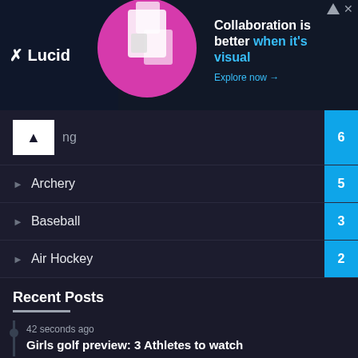[Figure (screenshot): Lucid advertisement banner: dark background, woman with diagrams, text 'Collaboration is better when it's visual. Explore now →']
ng  6
Archery  5
Baseball  3
Air Hockey  2
Recent Posts
42 seconds ago
Girls golf preview: 3 Athletes to watch
2 mins ago
Save the date: Dare Arts' fundraising auction 'The Great Art Heist' set to begin October 7
3 mins ago
Self-management Vital for Patients With Diabetes Who Have Intellectual Disabilities